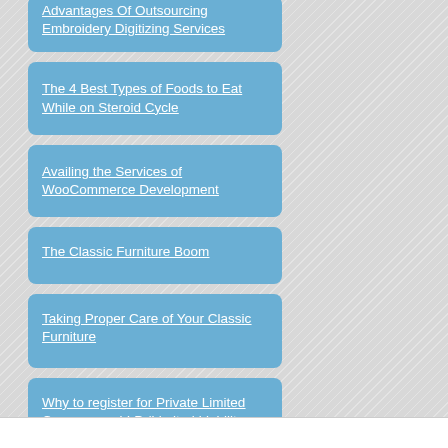Advantages Of Outsourcing Embroidery Digitizing Services
The 4 Best Types of Foods to Eat While on Steroid Cycle
Availing the Services of WooCommerce Development
The Classic Furniture Boom
Taking Proper Care of Your Classic Furniture
Why to register for Private Limited Company or LLP (Limited Liability Partnership) in India?
7 Most beneficial Online Outlays those consent Multi-Cryptocurrencies
Basic Low-Cost Ways To Beautify Your Dining Room